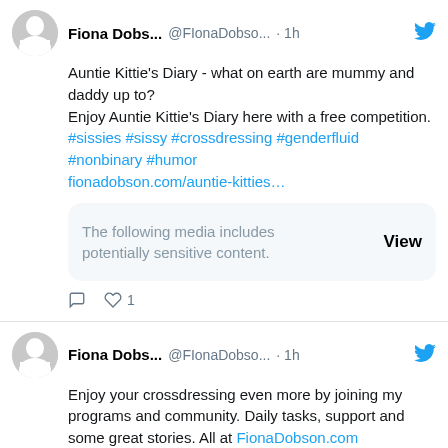Fiona Dobs... @FIonaDobso... · 1h
Auntie Kittie's Diary - what on earth are mummy and daddy up to?
Enjoy Auntie Kittie's Diary here with a free competition.
#sissies #sissy #crossdressing #genderfluid #nonbinary #humor fionadobson.com/auntie-kitties…
The following media includes potentially sensitive content. View
1
Fiona Dobs... @FIonaDobso... · 1h
Enjoy your crossdressing even more by joining my programs and community. Daily tasks, support and some great stories. All at FionaDobson.com  #crossdressing #crossdresser #nonbinary #fd2020